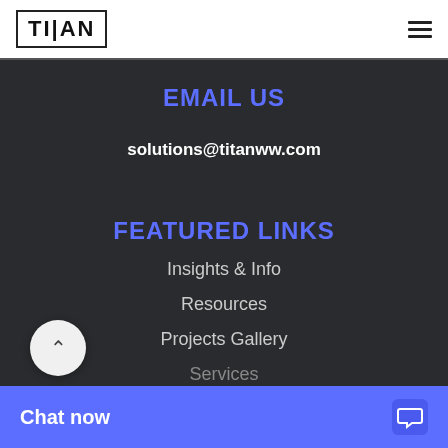[Figure (logo): TITAN logo in bold text inside a rectangular border]
EMAIL US
solutions@titanww.com
FEATURED LINKS
Insights & Info
Resources
Projects Gallery
Services
Chat now